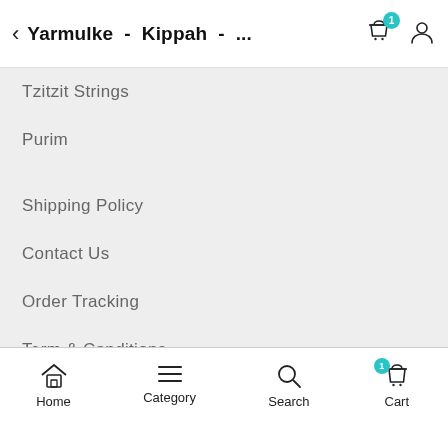Yarmulke - Kippah - ...
Tzitzit Strings
Purim
Shipping Policy
Contact Us
Order Tracking
Term & Conditions
Privacy Policy
Returns
Home  Category  Search  Cart